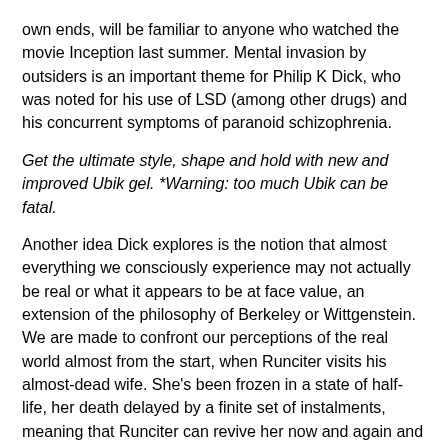own ends, will be familiar to anyone who watched the movie Inception last summer. Mental invasion by outsiders is an important theme for Philip K Dick, who was noted for his use of LSD (among other drugs) and his concurrent symptoms of paranoid schizophrenia.
Get the ultimate style, shape and hold with new and improved Ubik gel. *Warning: too much Ubik can be fatal.
Another idea Dick explores is the notion that almost everything we consciously experience may not actually be real or what it appears to be at face value, an extension of the philosophy of Berkeley or Wittgenstein. We are made to confront our perceptions of the real world almost from the start, when Runciter visits his almost-dead wife. She's been frozen in a state of half-life, her death delayed by a finite set of instalments, meaning that Runciter can revive her now and again and hold conversations with her, before packing her off to sleep again. This is important for a man like Runciter, as he runs his Prudence outfit with her help. And I'm sure he misses her, too.